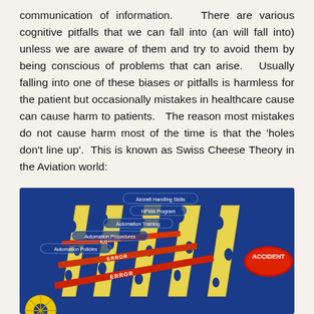communication of information.   There are various cognitive pitfalls that we can fall into (an will fall into) unless we are aware of them and try to avoid them by being conscious of problems that can arise.   Usually falling into one of these biases or pitfalls is harmless for the patient but occasionally mistakes in healthcare cause can cause harm to patients.   The reason most mistakes do not cause harm most of the time is that the 'holes don't line up'.  This is known as Swiss Cheese Theory in the Aviation world:
[Figure (infographic): Swiss Cheese Theory diagram on dark blue background showing multiple cheese slices with holes, arrows labeled ERROR passing through the holes toward a red ellipse labeled ACCIDENT on the right. Labels on the left identify layers: Automation Policies, Automation Procedures, Automation Training, HPMA Program, Aircraft Handling Skills.]